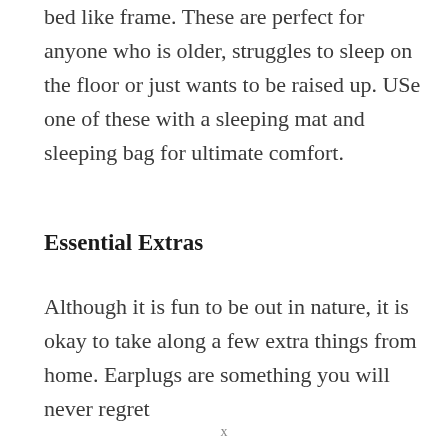raised platforms that fold out and create a bed like frame. These are perfect for anyone who is older, struggles to sleep on the floor or just wants to be raised up. USe one of these with a sleeping mat and sleeping bag for ultimate comfort.
Essential Extras
Although it is fun to be out in nature, it is okay to take along a few extra things from home. Earplugs are something you will never regret
x